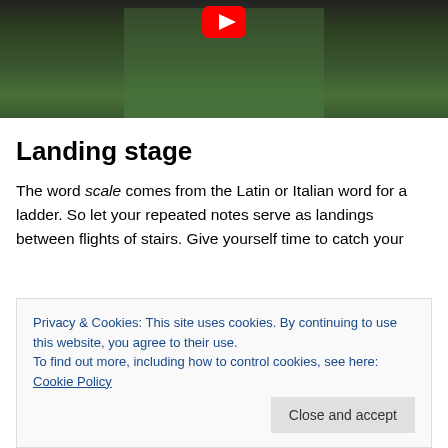[Figure (screenshot): YouTube video thumbnail showing two figures (a person and a muppet-like puppet) outdoors with greenery in background. YouTube play button visible at top center.]
Landing stage
The word scale comes from the Latin or Italian word for a ladder. So let your repeated notes serve as landings between flights of stairs. Give yourself time to catch your
Privacy & Cookies: This site uses cookies. By continuing to use this website, you agree to their use.
To find out more, including how to control cookies, see here: Cookie Policy
Communication